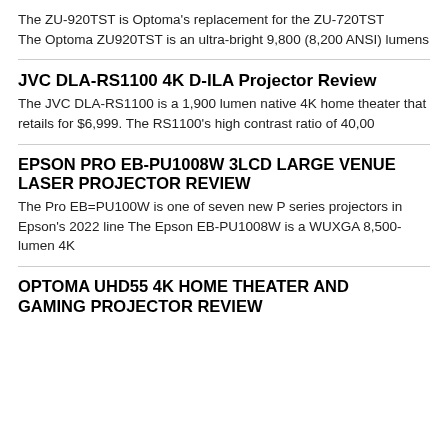The ZU-920TST is Optoma's replacement for the ZU-720TST The Optoma ZU920TST is an ultra-bright 9,800 (8,200 ANSI) lumens
JVC DLA-RS1100 4K D-ILA Projector Review
The JVC DLA-RS1100 is a 1,900 lumen native 4K home theater that retails for $6,999. The RS1100's high contrast ratio of 40,00
EPSON PRO EB-PU1008W 3LCD LARGE VENUE LASER PROJECTOR REVIEW
The Pro EB=PU100W is one of seven new P series projectors in Epson's 2022 line The Epson EB-PU1008W is a WUXGA 8,500-lumen 4K
OPTOMA UHD55 4K HOME THEATER AND GAMING PROJECTOR REVIEW